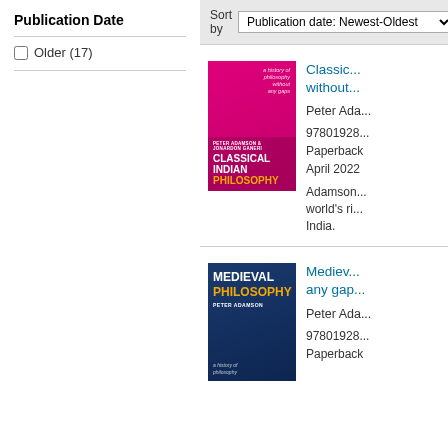Publication Date
Older (17)
Sort by Publication date: Newest-Oldest
[Figure (illustration): Book cover: Classical Indian Philosophy, pink/magenta cover, by Peter Adamson & Jonardon Ganeri]
Classical Indian Philosophy: a history of philosophy without any gaps
Peter Ada...
97801928...
Paperback
April 2022
Adamson... world's ri... India.
[Figure (illustration): Book cover: Medieval Philosophy, dark blue cover, by Peter Adamson]
Medieval Philosophy: a history of philosophy without any gaps
Peter Ada...
97801928...
Paperback